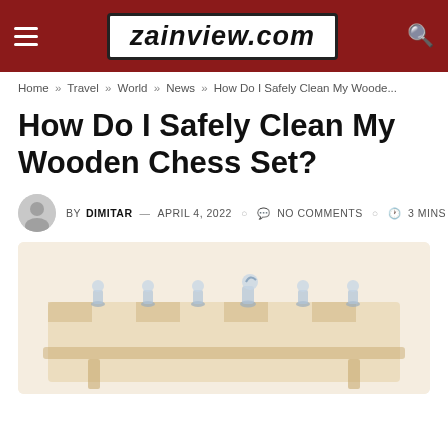zainview.com
Home » Travel » World » News » How Do I Safely Clean My Woode...
How Do I Safely Clean My Wooden Chess Set?
BY DIMITAR — APRIL 4, 2022  NO COMMENTS  3 MINS READ
[Figure (photo): Photo of a wooden chess set with chess pieces arranged on a board, light-colored wood, soft focus]